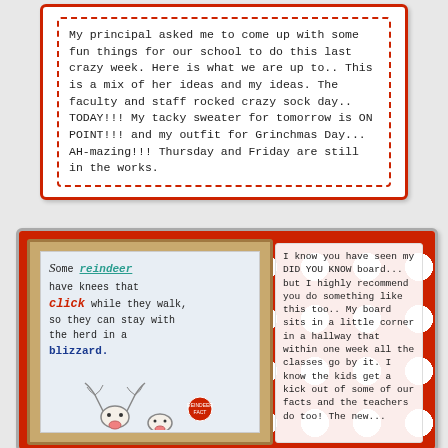My principal asked me to come up with some fun things for our school to do this last crazy week. Here is what we are up to.. This is a mix of her ideas and my ideas. The faculty and staff rocked crazy sock day.. TODAY!!! My tacky sweater for tomorrow is ON POINT!!! and my outfit for Grinchmas Day... AH-mazing!!! Thursday and Friday are still in the works.
[Figure (photo): Photo of a whiteboard in a wooden frame showing a reindeer fact: 'Some reindeer have knees that click while they walk, so they can stay with the herd in a blizzard.' with a drawing of a reindeer, set against a red polka dot background.]
I know you have seen my DID YOU KNOW board... but I highly recommend you do something like this too.. My board sits in a little corner in a hallway that within one week all the classes go by it. I know the kids get a kick out of some of our facts and the teachers do too! The new...